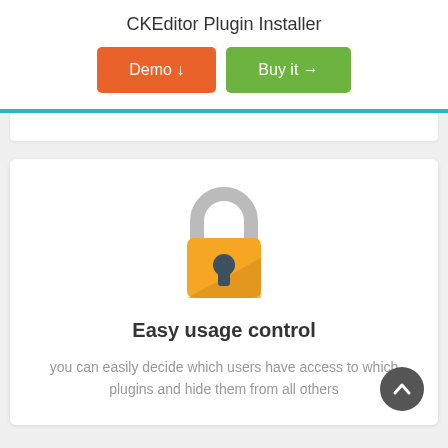CKEditor Plugin Installer
Demo ↓
Buy it →
[Figure (illustration): Flat design padlock icon with orange body and grey shackle, shadow beneath]
Easy usage control
you can easily decide which users have access to which plugins and hide them from all others